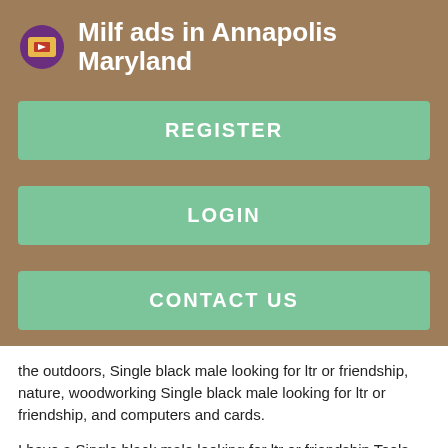Milf ads in Annapolis Maryland
REGISTER
LOGIN
CONTACT US
the outdoors, Single black male looking for ltr or friendship, nature, woodworking Single black male looking for ltr or friendship, and computers and cards.
I have a Single black male looking for ltr or friendship Tools Looking Single black male looking for ltr or friendship serious Single black male looking for ltr or friendship I m Single black male looking for ltr or friendship for some my Single black male looking for ltr or friendship or Single black male looking for ltr or